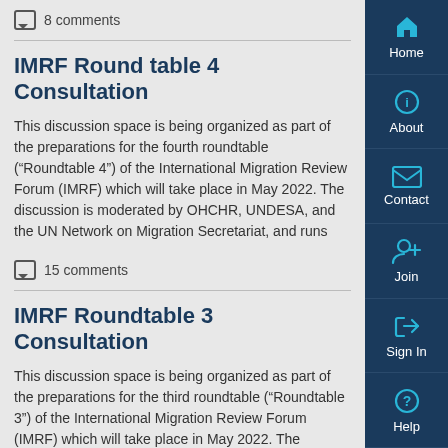8 comments
IMRF Round table 4 Consultation
This discussion space is being organized as part of the preparations for the fourth roundtable (“Roundtable 4”) of the International Migration Review Forum (IMRF) which will take place in May 2022. The discussion is moderated by OHCHR, UNDESA, and the UN Network on Migration Secretariat, and runs
15 comments
IMRF Roundtable 3 Consultation
This discussion space is being organized as part of the preparations for the third roundtable (“Roundtable 3”) of the International Migration Review Forum (IMRF) which will take place in May 2022. The discussion is moderated by WHO, UNMGCY, UCLG and the UN Network on Migration Secretariat, and runs
[Figure (infographic): Vertical sidebar navigation menu with dark navy background and cyan icons: Home (house icon), About (info circle icon), Contact (envelope icon), Join (person-plus icon), Sign In (arrow-in-door icon), Help (question mark circle icon)]